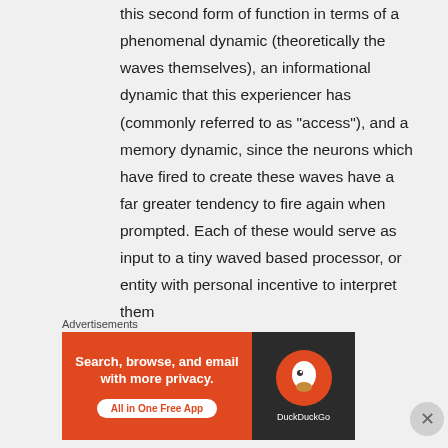this second form of function in terms of a phenomenal dynamic (theoretically the waves themselves), an informational dynamic that this experiencer has (commonly referred to as "access"), and a memory dynamic, since the neurons which have fired to create these waves have a far greater tendency to fire again when prompted. Each of these would serve as input to a tiny waved based processor, or entity with personal incentive to interpret them
Advertisements
[Figure (other): DuckDuckGo advertisement banner: 'Search, browse, and email with more privacy. All in One Free App' with DuckDuckGo logo on dark background]